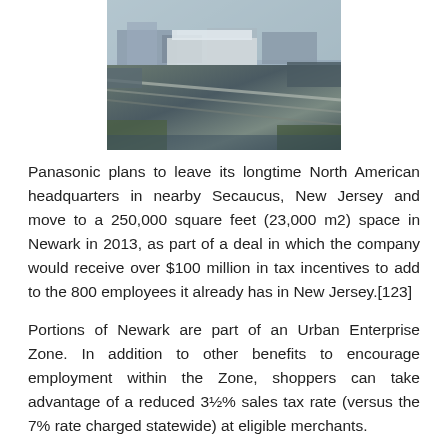[Figure (photo): Aerial photograph of Port Newark / industrial waterfront area showing port facilities, rail lines, and industrial buildings]
Panasonic plans to leave its longtime North American headquarters in nearby Secaucus, New Jersey and move to a 250,000 square feet (23,000 m2) space in Newark in 2013, as part of a deal in which the company would receive over $100 million in tax incentives to add to the 800 employees it already has in New Jersey.[123]
Portions of Newark are part of an Urban Enterprise Zone. In addition to other benefits to encourage employment within the Zone, shoppers can take advantage of a reduced 3½% sales tax rate (versus the 7% rate charged statewide) at eligible merchants.
Port Newark